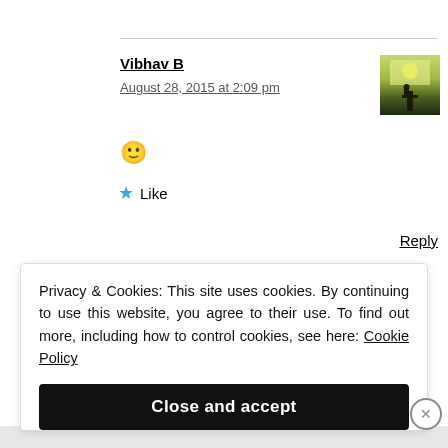Vibhav B
August 28, 2015 at 2:09 pm
[Figure (photo): Avatar photo showing a silhouetted figure against a bright greenish-yellow sky background]
🙂
★ Like
Reply
Privacy & Cookies: This site uses cookies. By continuing to use this website, you agree to their use. To find out more, including how to control cookies, see here: Cookie Policy
Close and accept